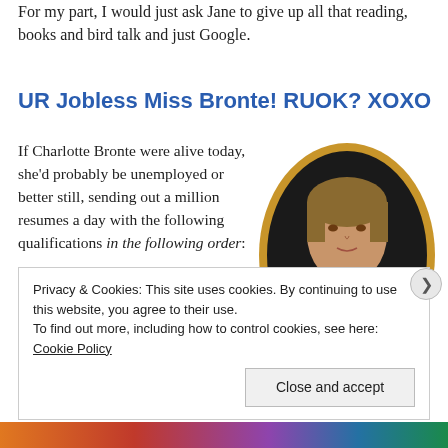For my part, I would just ask Jane to give up all that reading, books and bird talk and just Google.
UR Jobless Miss Bronte! RUOK? XOXO
If Charlotte Bronte were alive today, she'd probably be unemployed or better still, sending out a million resumes a day with the following qualifications in the following order:
[Figure (illustration): Oval portrait painting of Charlotte Bronte with gold/brown oval frame, showing a young woman with pulled-back hair, wearing a dark dress with white collar and red bow/cravat, against a dark background.]
Privacy & Cookies: This site uses cookies. By continuing to use this website, you agree to their use.
To find out more, including how to control cookies, see here: Cookie Policy

Close and accept